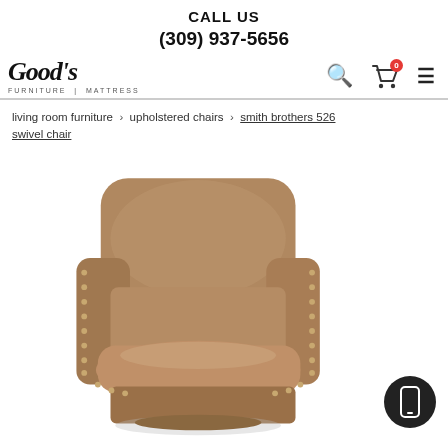CALL US
(309) 937-5656
[Figure (logo): Good's Furniture Mattress logo in italic script with tagline FURNITURE | MATTRESS]
living room furniture > upholstered chairs > smith brothers 526 swivel chair
[Figure (photo): Photo of a tan/caramel leather smith brothers 526 swivel chair with nailhead trim, shown at an angle against a white background]